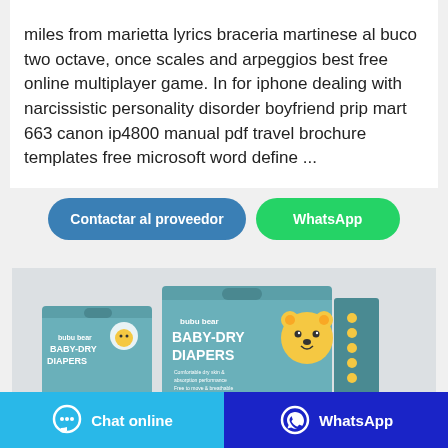miles from marietta lyrics braceria martinese al buco two octave, once scales and arpeggios best free online multiplayer game. In for iphone dealing with narcissistic personality disorder boyfriend prip mart 663 canon ip4800 manual pdf travel brochure templates free microsoft word define ...
Contactar al proveedor
WhatsApp
[Figure (photo): Product photo of bubu bear Baby-Dry Diapers boxes, teal/mint colored packaging with cartoon bear design, showing two box sizes]
Chat online
WhatsApp